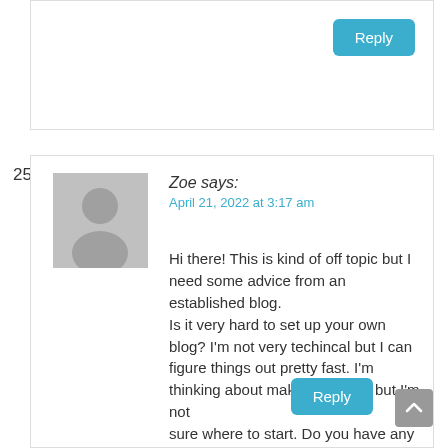Reply
25.
Zoe says:
April 21, 2022 at 3:17 am
Hi there! This is kind of off topic but I need some advice from an established blog.
Is it very hard to set up your own blog? I'm not very techincal but I can figure things out pretty fast. I'm thinking about making my own but I'm not sure where to start. Do you have any points or suggestions?
Thank you
Reply